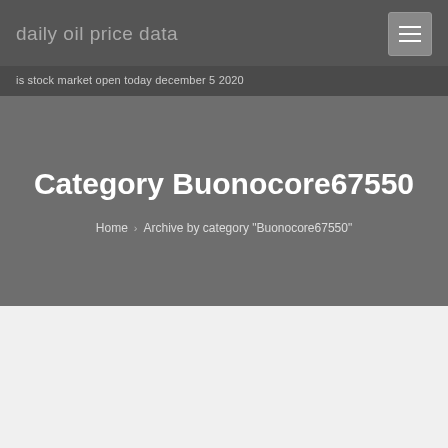daily oil price data
is stock market open today december 5 2020
Category Buonocore67550
Home > Archive by category "Buonocore67550"
Buonocore67550